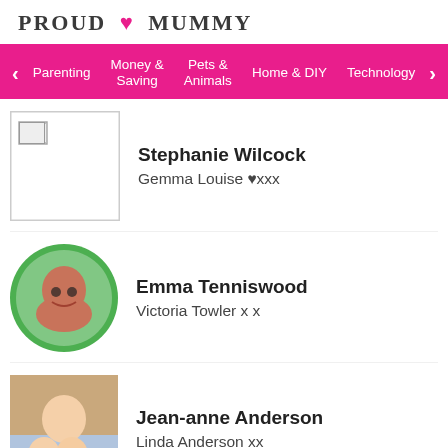PROUD ♥ MUMMY
Parenting | Money & Saving | Pets & Animals | Home & DIY | Technology
Stephanie Wilcock
Gemma Louise ♥xxx
Emma Tenniswood
Victoria Towler x x
Jean-anne Anderson
Linda Anderson xx
Saphra Harris
Charlotte John Jane Alex
Faith Duffy
Carol Duffy 😕😊🏠🏠🏠